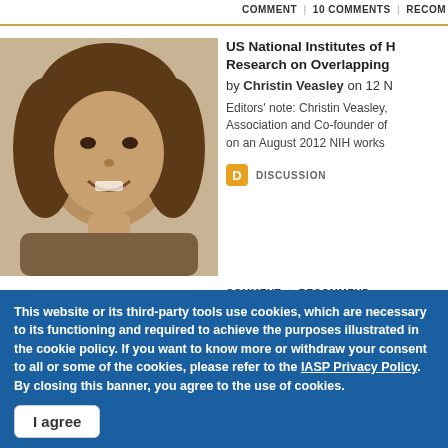COMMENT | 10 COMMENTS | RECOM...
[Figure (photo): Headshot of Christin Veasley, a woman with curly dark hair, smiling, sepia-toned photo]
US National Institutes of H... Research on Overlapping...
by Christin Veasley on 12 N...
Editors' note: Christin Veasley, Association and Co-founder of on an August 2012 NIH works...
D  DISCUSSION
COMMENT | RECOMMEND
[Figure (photo): Headshot of Shan Lou, a young woman wearing a yellow/mustard hat, smiling]
A Long Way to Go: A Grad... Disease Workshop at Neu...
by Shan Lou on 7 Feb 2013...
How much do we know about ...
This website or its third-party tools use cookies, which are necessary to its functioning and required to achieve the purposes illustrated in the cookie policy. If you want to know more or withdraw your consent to all or some of the cookies, please refer to the IASP Privacy Policy. By closing this banner, you agree to the use of cookies.
I agree